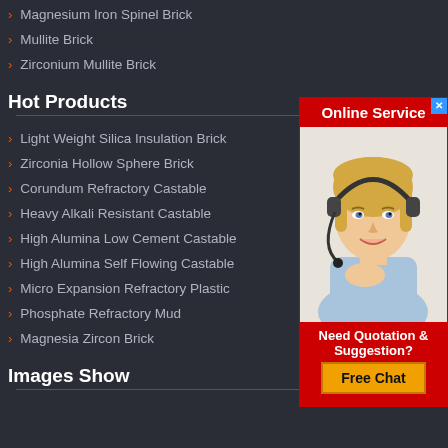Magnesium Iron Spinel Brick
Mullite Brick
Zirconium Mullite Brick
Hot Products
Light Weight Silica Insulation Brick
Zirconia Hollow Sphere Brick
Corundum Refractory Castable
Heavy Alkali Resistant Castable
High Alumina Low Cement Castable
High Alumina Self Flowing Castable
Micro Expansion Refractory Plastic
Phosphate Refractory Mud
Magnesia Zircon Brick
Images Show
About Us
[Figure (photo): Online Service banner with a smiling blonde woman wearing a headset, red background, showing 'Online Service', 'Need Quotation & Suggestion?', and 'Free Chat' button]